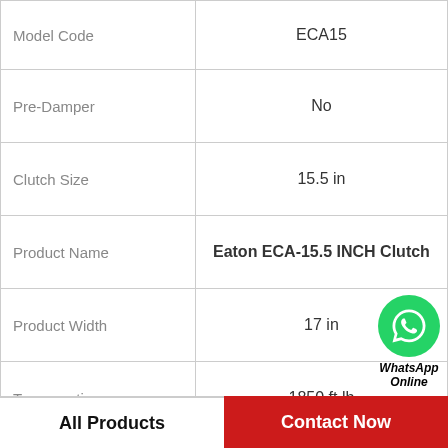|  |  |
| --- | --- |
| Model Code | ECA15 |
| Pre-Damper | No |
| Clutch Size | 15.5 in |
| Product Name | Eaton ECA-15.5 INCH Clutch |
| Product Width | 17 in |
| Torque rating | 1850 ft lb |
| Catalog Number | 122002-35A |
| Product Height | 7.25 in |
[Figure (logo): WhatsApp Online button — green circle with phone handset icon, text 'WhatsApp Online' in bold italic below]
All Products    Contact Now